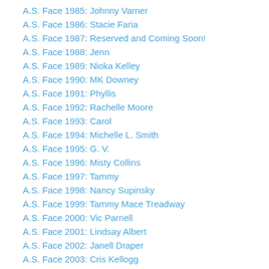A.S. Face 1985: Johnny Varner
A.S. Face 1986: Stacie Faria
A.S. Face 1987: Reserved and Coming Soon!
A.S. Face 1988: Jenn
A.S. Face 1989: Nioka Kelley
A.S. Face 1990: MK Downey
A.S. Face 1991: Phyllis
A.S. Face 1992: Rachelle Moore
A.S. Face 1993: Carol
A.S. Face 1994: Michelle L. Smith
A.S. Face 1995: G. V.
A.S. Face 1996: Misty Collins
A.S. Face 1997: Tammy
A.S. Face 1998: Nancy Supinsky
A.S. Face 1999: Tammy Mace Treadway
A.S. Face 2000: Vic Parnell
A.S. Face 2001: Lindsay Albert
A.S. Face 2002: Janell Draper
A.S. Face 2003: Cris Kellogg
A.S. Face 2004: Steve